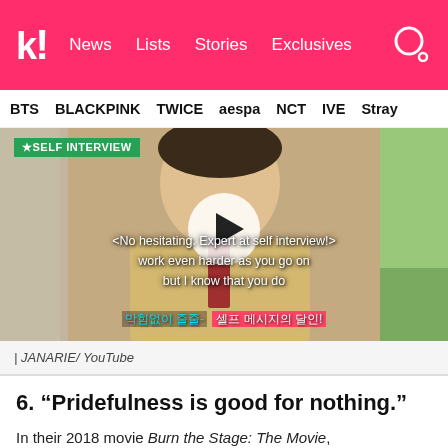koreaboo | News | Lists | Stories | Exclusives
BTS | BLACKPINK | TWICE | aespa | NCT | IVE | Stray
[Figure (screenshot): Video thumbnail of a BTS member giving a self interview, with a play button overlay. Green label reads '*SELF INTERVIEW'. White subtitle text reads '<No hesitating. Expert at self interview!> work even harder as you go on but I know that you do'. Korean subtitle text at bottom. Play button circle in center.]
| JANARIE/ YouTube
6. “Pridefulness is good for nothing.”
In their 2018 movie Burn the Stage: The Movie,